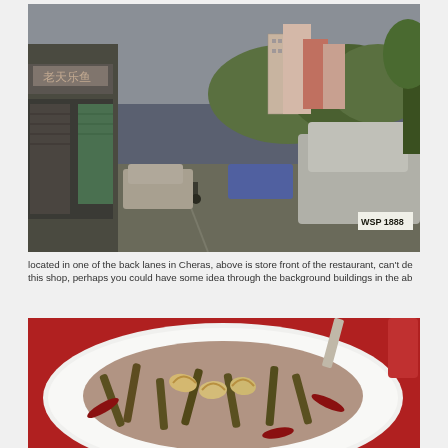[Figure (photo): Street view of a back lane in Cheras, Malaysia. Shows shophouses on the left with shuttered storefronts, parked cars including a silver Toyota MPV with license plate WSP 1888, a motorcycle/cart in the middle of the lane, and residential apartment buildings in the background on a hill.]
located in one of the back lanes in Cheras, above is store front of the restaurant, can't de this shop, perhaps you could have some idea through the background buildings in the ab
[Figure (photo): Close-up food photo of a stir-fried dish on a white plate with red tablecloth. The dish contains green beans, cashew nuts, dried red chillies, and appears to be coated in a dark sauce.]